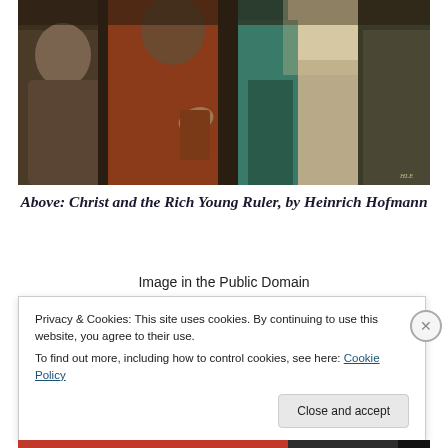[Figure (illustration): Painting detail of Christ and the Rich Young Ruler by Heinrich Hofmann — shows robed figures in dark tones, one in red/orange robes gesturing, another in green and white robes, an older figure to the left.]
Above:  Christ and the Rich Young Ruler, by Heinrich Hofmann
Image in the Public Domain
Privacy & Cookies: This site uses cookies. By continuing to use this website, you agree to their use.
To find out more, including how to control cookies, see here: Cookie Policy
Close and accept